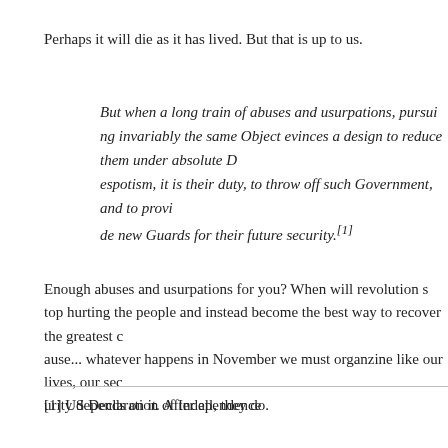Perhaps it will die as it has lived. But that is up to us.
But when a long train of abuses and usurpations, pursuing invariably the same Object evinces a design to reduce them under absolute Despotism, it is their duty, to throw off such Government, and to provide new Guards for their future security.[1]
Enough abuses and usurpations for you? When will revolution stop hurting the people and instead become the best way to recover the greatest of all... Whatever happens in November we must organzine like our lives, our security depends on it. After all, they do.
[1] US Declaration of Independence